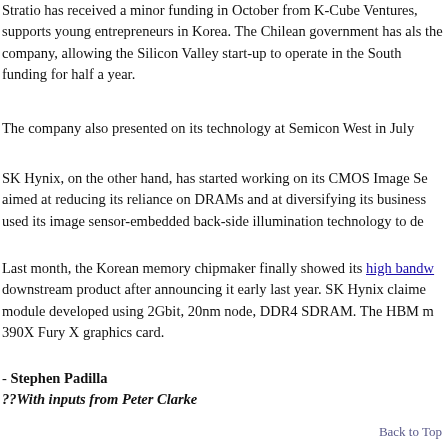Stratio has received a minor funding in October from K-Cube Ventures, supports young entrepreneurs in Korea. The Chilean government has also the company, allowing the Silicon Valley start-up to operate in the South funding for half a year.
The company also presented on its technology at Semicon West in July
SK Hynix, on the other hand, has started working on its CMOS Image Se aimed at reducing its reliance on DRAMs and at diversifying its business used its image sensor-embedded back-side illumination technology to de
Last month, the Korean memory chipmaker finally showed its high bandw downstream product after announcing it early last year. SK Hynix claime module developed using 2Gbit, 20nm node, DDR4 SDRAM. The HBM m 390X Fury X graphics card.
- Stephen Padilla
??With inputs from Peter Clarke
Back to Top